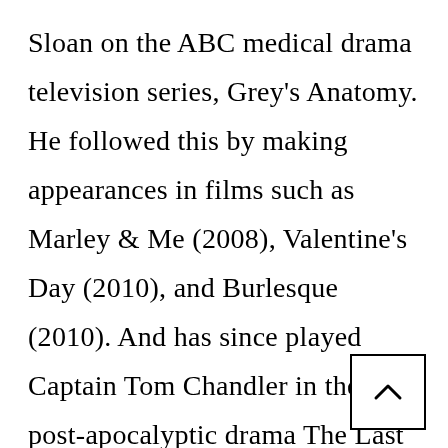Sloan on the ABC medical drama television series, Grey's Anatomy. He followed this by making appearances in films such as Marley & Me (2008), Valentine's Day (2010), and Burlesque (2010). And has since played Captain Tom Chandler in the post-apocalyptic drama The Last Ship and stars currently as Cal Jacobs in the HBO series Euphoria.